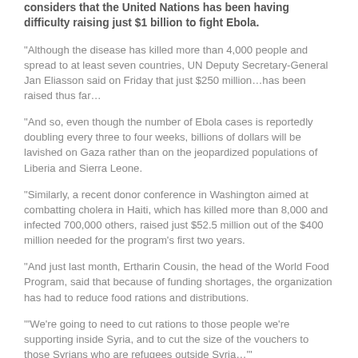considers that the United Nations has been having difficulty raising just $1 billion to fight Ebola.
“Although the disease has killed more than 4,000 people and spread to at least seven countries, UN Deputy Secretary-General Jan Eliasson said on Friday that just $250 million…has been raised thus far…
“And so, even though the number of Ebola cases is reportedly doubling every three to four weeks, billions of dollars will be lavished on Gaza rather than on the jeopardized populations of Liberia and Sierra Leone.
“Similarly, a recent donor conference in Washington aimed at combatting cholera in Haiti, which has killed more than 8,000 and infected 700,000 others, raised just $52.5 million out of the $400 million needed for the program’s first two years.
“And just last month, Ertharin Cousin, the head of the World Food Program, said that because of funding shortages, the organization has had to reduce food rations and distributions.
‘“We’re going to need to cut rations to those people we’re supporting inside Syria, and to cut the size of the vouchers to those Syrians who are refugees outside Syria…’”